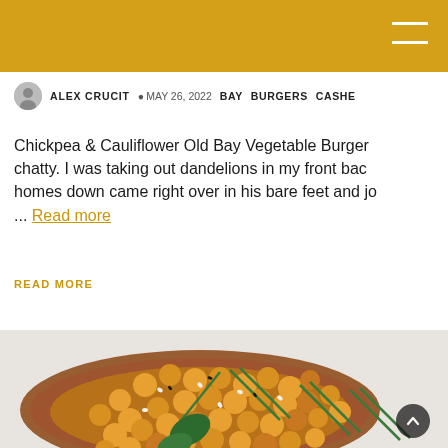ALEX CRUCIT  MAY 26, 2022  BAY  BURGERS  CASHE...
Chickpea & Cauliflower Old Bay Vegetable Burger... chatty. I was taking out dandelions in my front bac... homes down came right over in his bare feet and jo... Read more
READ MORE
[Figure (photo): Close-up food photograph of roasted golden chickpeas with green onions, sesame seeds, and fresh basil leaves on a wooden spoon/board with white background]